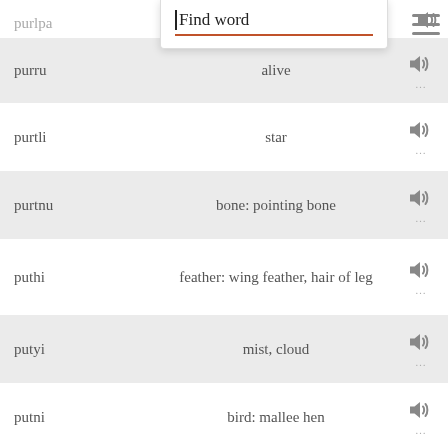purlpa — dust (partial, top)
[Figure (screenshot): Search bar overlay with text 'Find word' and orange underline]
purru — alive
purtli — star
purtnu — bone: pointing bone
puthi — feather: wing feather, hair of leg
putyi — mist, cloud
putni — bird: mallee hen
puyu — smoke